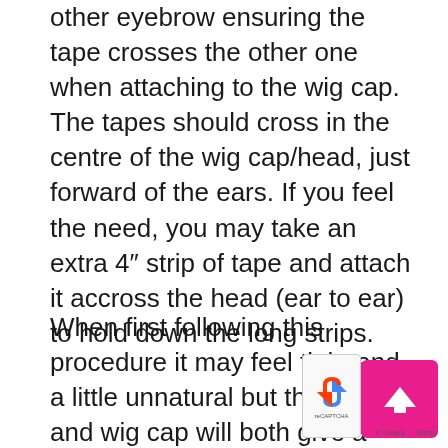other eyebrow ensuring the tape crosses the other one when attaching to the wig cap. The tapes should cross in the centre of the wig cap/head, just forward of the ears. If you feel the need, you may take an extra 4″ strip of tape and attach it accross the head (ear to ear) to hold down the long strips.
When first following this procedure it may feel tight and a little unnatural but the tape and wig cap will both give a little and you will become less concious of it after a time. If wearing a wig with bangs this will cover the tape-ends on the forehead after make-up has been applied – you can also blend the ends of the tape with foundation as part of the makeover. You are ready to apply makeup and shape your eyeb...
[Figure (other): A reCAPTCHA widget and a pink scroll-up button overlay in the bottom-right corner of the page.]